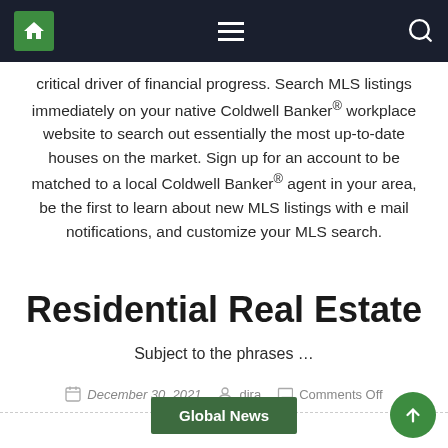[Navigation bar with home icon, menu icon, search icon]
critical driver of financial progress. Search MLS listings immediately on your native Coldwell Banker® workplace website to search out essentially the most up-to-date houses on the market. Sign up for an account to be matched to a local Coldwell Banker® agent in your area, be the first to learn about new MLS listings with e mail notifications, and customize your MLS search.
Residential Real Estate
Subject to the phrases …
December 30, 2021   dira   Comments Off